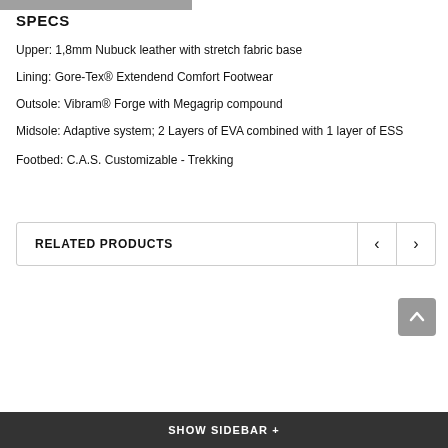SPECS
Upper: 1,8mm Nubuck leather with stretch fabric base
Lining: Gore-Tex® Extendend Comfort Footwear
Outsole: Vibram® Forge with Megagrip compound
Midsole: Adaptive system; 2 Layers of EVA combined with 1 layer of ESS
Footbed: C.A.S. Customizable - Trekking
RELATED PRODUCTS
SHOW SIDEBAR +